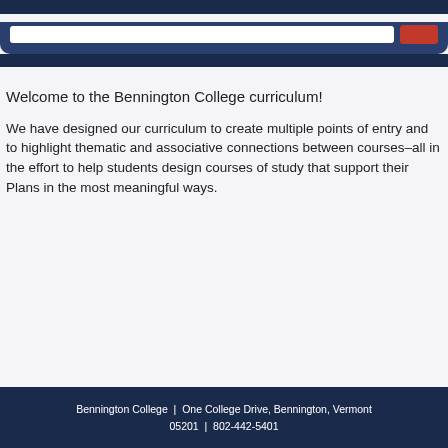Welcome to the Bennington College curriculum!
We have designed our curriculum to create multiple points of entry and to highlight thematic and associative connections between courses–all in the effort to help students design courses of study that support their Plans in the most meaningful ways.
Bennington College  |  One College Drive, Bennington, Vermont 05201  |  802-442-5401